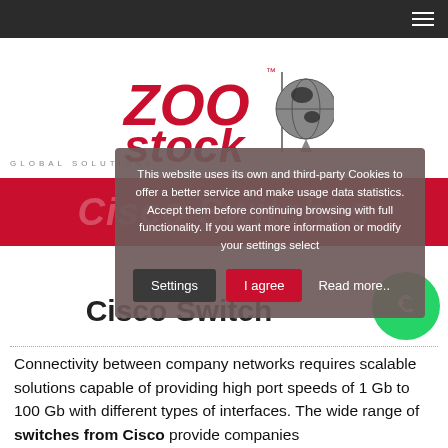Navigation bar with hamburger menu
[Figure (logo): ZooStock Global Solutions logo — red stylized ZOO STOCK text with globe icon]
[Figure (screenshot): Cookie consent modal overlay with Settings and I agree buttons and Read more link]
Cisco Switch
Connectivity between company networks requires scalable solutions capable of providing high port speeds of 1 Gb to 100 Gb with different types of interfaces. The wide range of switches from Cisco provide companies